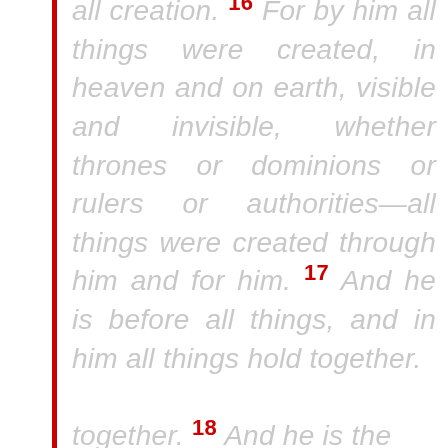all creation. 16 For by him all things were created, in heaven and on earth, visible and invisible, whether thrones or dominions or rulers or authorities—all things were created through him and for him. 17 And he is before all things, and in him all things hold together. 18 And he is the